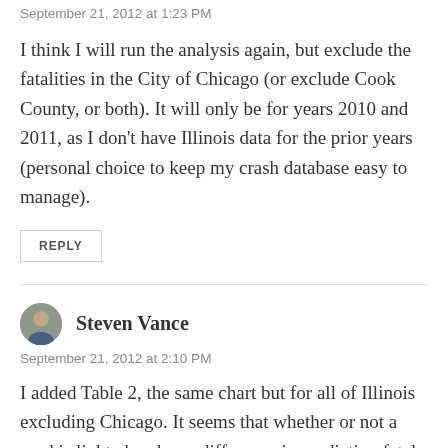September 21, 2012 at 1:23 PM
I think I will run the analysis again, but exclude the fatalities in the City of Chicago (or exclude Cook County, or both). It will only be for years 2010 and 2011, as I don’t have Illinois data for the prior years (personal choice to keep my crash database easy to manage).
REPLY
Steven Vance
September 21, 2012 at 2:10 PM
I added Table 2, the same chart but for all of Illinois excluding Chicago. It seems that whether or not a road is lighted makes a difference in predicting fatal crashes.